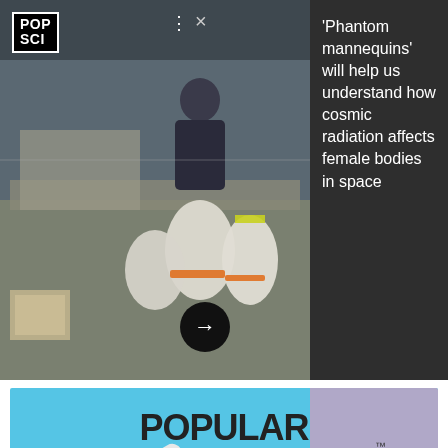[Figure (photo): Lab/workspace photo showing a person working with white cylindrical equipment, possibly astronaut dummies or equipment, in what appears to be a research facility. POP SCI logo in top-left corner.]
'Phantom mannequins' will help us understand how cosmic radiation affects female bodies in space
[Figure (photo): Advertisement for Popular Science by Celestron featuring a telescope on a tripod against a blue and purple background with mountains. Includes 'SAVE NOW' orange button.]
[Figure (photo): Seamless food delivery advertisement banner showing pizza slices on the left, the Seamless logo in red, and an 'ORDER NOW' button on the right against a dark background.]